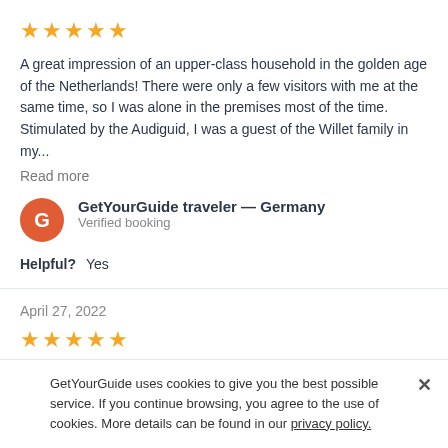[Figure (other): 5 yellow star rating icons]
A great impression of an upper-class household in the golden age of the Netherlands! There were only a few visitors with me at the same time, so I was alone in the premises most of the time. Stimulated by the Audiguid, I was a guest of the Willet family in my...
Read more
GetYourGuide traveler — Germany
Verified booking
Helpful?   Yes
April 27, 2022
[Figure (other): 5 yellow star rating icons]
Exciting!
GetYourGuide uses cookies to give you the best possible service. If you continue browsing, you agree to the use of cookies. More details can be found in our privacy policy.